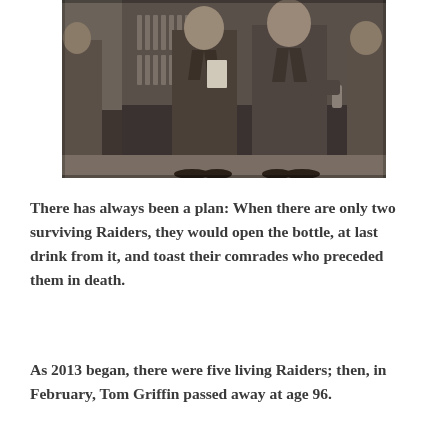[Figure (photo): Black and white photograph of two men in suits standing at a table draped with dark fabric, with trophies or awards visible in the background at what appears to be a formal event or ceremony.]
There has always been a plan: When there are only two surviving Raiders, they would open the bottle, at last drink from it, and toast their comrades who preceded them in death.
As 2013 began, there were five living Raiders; then, in February, Tom Griffin passed away at age 96.